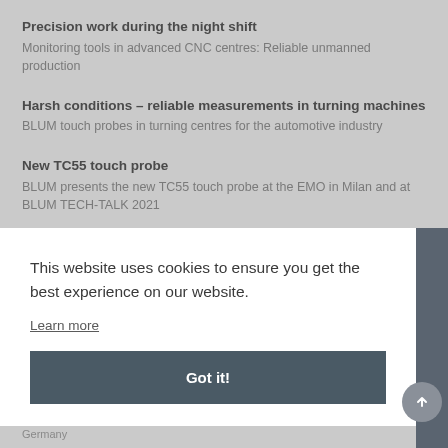Precision work during the night shift
Monitoring tools in advanced CNC centres: Reliable unmanned production
Harsh conditions – reliable measurements in turning machines
BLUM touch probes in turning centres for the automotive industry
New TC55 touch probe
BLUM presents the new TC55 touch probe at the EMO in Milan and at BLUM TECH-TALK 2021
This website uses cookies to ensure you get the best experience on our website.
Learn more
Got it!
Germany